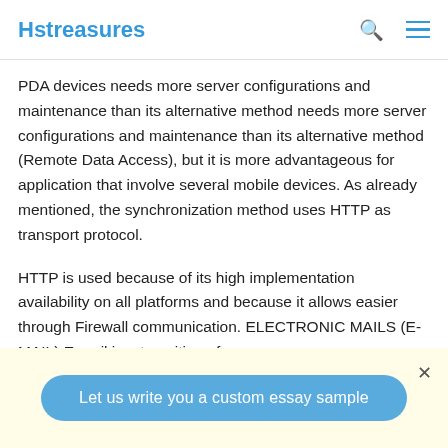Hstreasures
PDA devices needs more server configurations and maintenance than its alternative method needs more server configurations and maintenance than its alternative method (Remote Data Access), but it is more advantageous for application that involve several mobile devices. As already mentioned, the synchronization method uses HTTP as transport protocol.
HTTP is used because of its high implementation availability on all platforms and because it allows easier through Firewall communication. ELECTRONIC MAILS (E-MAIL) E-mail is a transition of message over communication network; it refers to apply the computer
Let us write you a custom essay sample